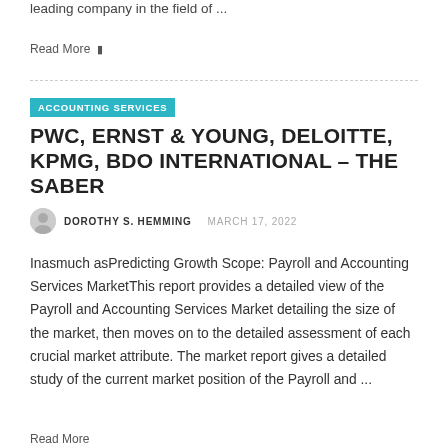leading company in the field of ...
Read More đ
ACCOUNTING SERVICES
PWC, ERNST & YOUNG, DELOITTE, KPMG, BDO INTERNATIONAL – THE SABER
DOROTHY S. HEMMING   MARCH 17, 2022
Inasmuch asPredicting Growth Scope: Payroll and Accounting Services MarketThis report provides a detailed view of the Payroll and Accounting Services Market detailing the size of the market, then moves on to the detailed assessment of each crucial market attribute. The market report gives a detailed study of the current market position of the Payroll and ...
Read More